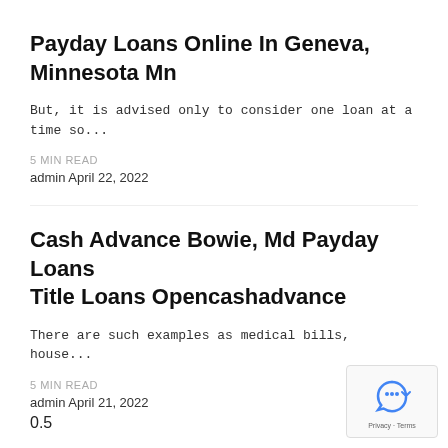Payday Loans Online In Geneva, Minnesota Mn
But, it is advised only to consider one loan at a time so...
5 MIN READ
admin April 22, 2022
Cash Advance Bowie, Md Payday Loans Title Loans Opencashadvance
There are such examples as medical bills, house...
5 MIN READ
admin April 21, 2022
0.5